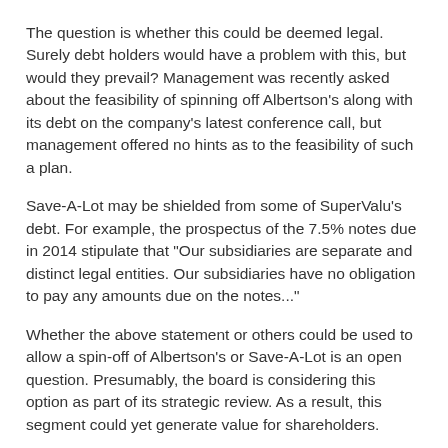The question is whether this could be deemed legal. Surely debt holders would have a problem with this, but would they prevail? Management was recently asked about the feasibility of spinning off Albertson's along with its debt on the company's latest conference call, but management offered no hints as to the feasibility of such a plan.
Save-A-Lot may be shielded from some of SuperValu's debt. For example, the prospectus of the 7.5% notes due in 2014 stipulate that "Our subsidiaries are separate and distinct legal entities. Our subsidiaries have no obligation to pay any amounts due on the notes..."
Whether the above statement or others could be used to allow a spin-off of Albertson's or Save-A-Lot is an open question. Presumably, the board is considering this option as part of its strategic review. As a result, this segment could yet generate value for shareholders.
Disclosure: Author has a long position in shares of SVU